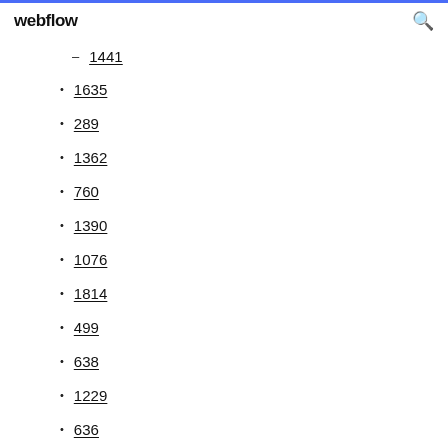webflow
1441
1635
289
1362
760
1390
1076
1814
499
638
1229
636
754